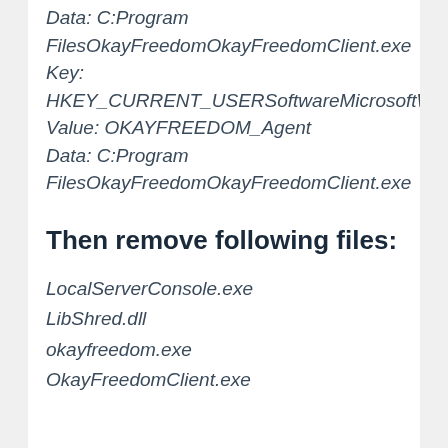Data: C:Program FilesOkayFreedomOkayFreedomClient.exe Key: HKEY_CURRENT_USERSoftwareMicrosoftWindowsCurrentVersionRun Value: OKAYFREEDOM_Agent Data: C:Program FilesOkayFreedomOkayFreedomClient.exe
Then remove following files:
LocalServerConsole.exe
LibShred.dll
okayfreedom.exe
OkayFreedomClient.exe